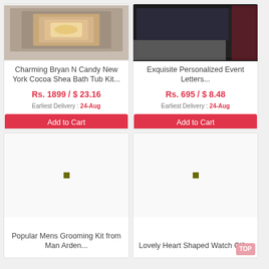[Figure (photo): Photo of Bryan N Candy bath tub kit product (partially visible top, clipped)]
Charming Bryan N Candy New York Cocoa Shea Bath Tub Kit...
Rs. 1899 / $ 23.16
Earliest Delivery : 24-Aug
Add to Cart
[Figure (photo): Photo of personalized event letters product (dark fabric with handwriting, partially visible at top)]
Exquisite Personalized Event Letters...
Rs. 695 / $ 8.48
Earliest Delivery : 24-Aug
Add to Cart
[Figure (photo): Loading placeholder for Popular Mens Grooming Kit from Man Arden product image]
Popular Mens Grooming Kit from Man Arden...
[Figure (photo): Loading placeholder for Lovely Heart Shaped Watch Gift product image]
Lovely Heart Shaped Watch Gift...